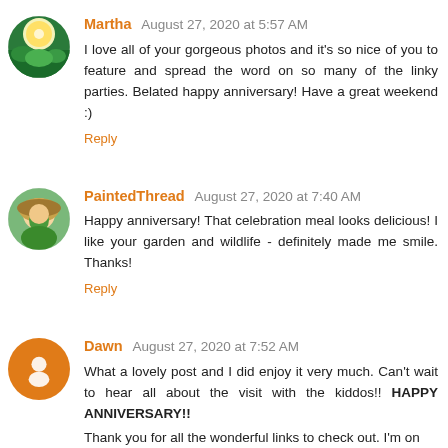[Figure (photo): Avatar image for Martha - colorful tropical/nature scene thumbnail]
Martha August 27, 2020 at 5:57 AM
I love all of your gorgeous photos and it's so nice of you to feature and spread the word on so many of the linky parties. Belated happy anniversary! Have a great weekend :)
Reply
[Figure (photo): Avatar image for PaintedThread - woman in green shirt and hat]
PaintedThread August 27, 2020 at 7:40 AM
Happy anniversary! That celebration meal looks delicious! I like your garden and wildlife - definitely made me smile. Thanks!
Reply
[Figure (illustration): Avatar circle icon for Dawn - orange circle with blogger/person icon]
Dawn August 27, 2020 at 7:52 AM
What a lovely post and I did enjoy it very much. Can't wait to hear all about the visit with the kiddos!! HAPPY ANNIVERSARY!!
Thank you for all the wonderful links to check out. I'm on